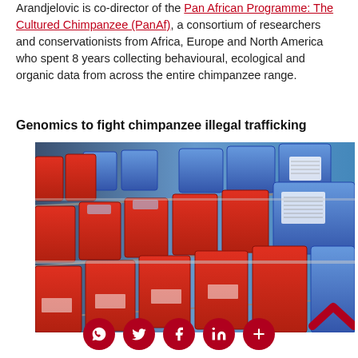Arandjelovic is co-director of the Pan African Programme: The Cultured Chimpanzee (PanAf), a consortium of researchers and conservationists from Africa, Europe and North America who spent 8 years collecting behavioural, ecological and organic data from across the entire chimpanzee range.
Genomics to fight chimpanzee illegal trafficking
[Figure (photo): Rows of red and blue plastic storage bins/containers on shelving racks in a storage facility or lab.]
[Figure (infographic): Social media sharing buttons: WhatsApp, Twitter, Facebook, LinkedIn, and a plus/more button — all in dark red circles.]